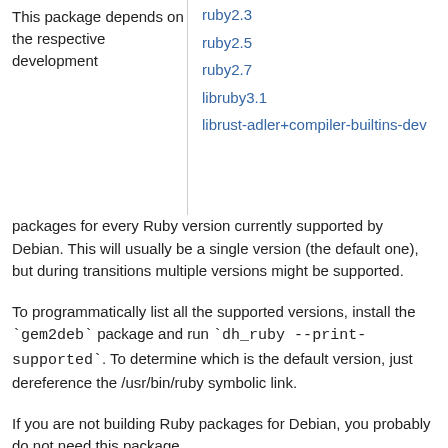This package depends on the respective development packages for every Ruby version currently supported by Debian. This will usually be a single version (the default one), but during transitions multiple versions might be supported.
ruby2.3
ruby2.5
ruby2.7
libruby3.1
librust-adler+compiler-builtins-dev
To programmatically list all the supported versions, install the `gem2deb` package and run `dh_ruby --print-supported`. To determine which is the default version, just dereference the /usr/bin/ruby symbolic link.
If you are not building Ruby packages for Debian, you probably do not need this package.